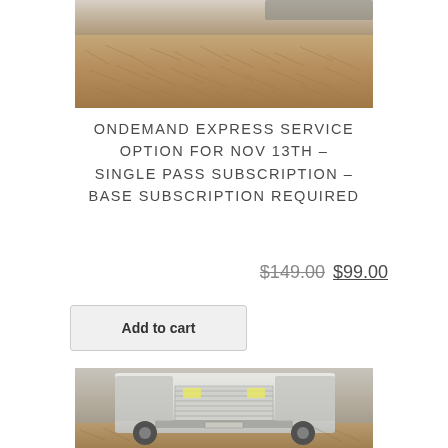[Figure (photo): Photo showing a pile of dry autumn leaves on the ground, with a vehicle partially visible at the top]
ONDEMAND EXPRESS SERVICE OPTION FOR NOV 13TH – SINGLE PASS SUBSCRIPTION – BASE SUBSCRIPTION REQUIRED
$149.00 $99.00
Add to cart
[Figure (photo): Photo showing a white truck/vehicle from the front, parked on a bed of dry leaves]